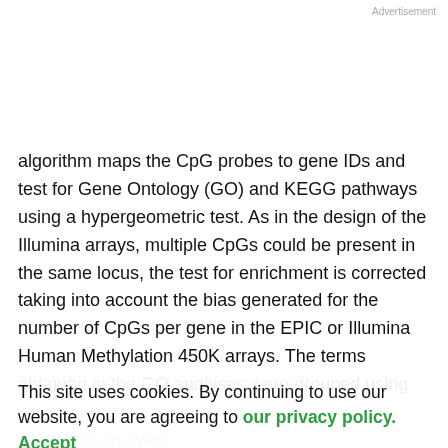Advertisement
algorithm maps the CpG probes to gene IDs and test for Gene Ontology (GO) and KEGG pathways using a hypergeometric test. As in the design of the Illumina arrays, multiple CpGs could be present in the same locus, the test for enrichment is corrected taking into account the bias generated for the number of CpGs per gene in the EPIC or Illumina Human Methylation 450K arrays. The terms obtained in the GO analyses were grouped using
REVIGO into hierarchical groups (22).
This site uses cookies. By continuing to use our website, you are agreeing to our privacy policy. Accept
Statistical Analysis
All analyses were performed using R packages and